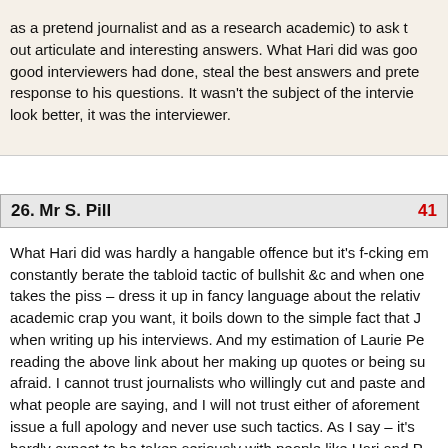as a pretend journalist and as a research academic) to ask the right questions to draw out articulate and interesting answers. What Hari did was google what other good interviewers had done, steal the best answers and pretend they were a response to his questions. It wasn't the subject of the interview he wanted to look better, it was the interviewer.
26. Mr S. Pill	41
What Hari did was hardly a hangable offence but it's f-cking embarrassing constantly berate the tabloid tactic of bullshit &c and when one of your own takes the piss – dress it up in fancy language about the relative truth or whatever academic crap you want, it boils down to the simple fact that J lied when writing up his interviews. And my estimation of Laurie Pe reading the above link about her making up quotes or being su afraid. I cannot trust journalists who willingly cut and paste and what people are saying, and I will not trust either of aforement issue a full apology and never use such tactics. As I say – it's hardly expect to be taken seriously with people like Hari and P that they've done anything wrong.
Greater truth my arse.